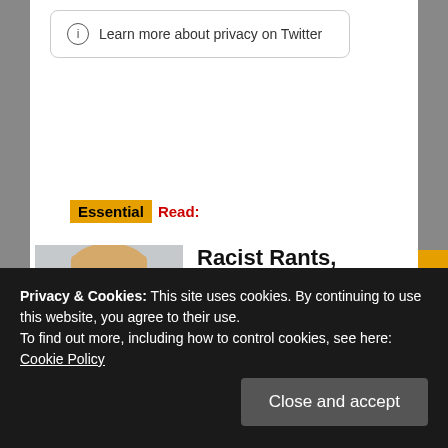Learn more about privacy on Twitter
Essential Read:
[Figure (photo): Photo of a man with blond hair and glasses making an angry or exasperated expression with fists raised]
Racist Rants, ‘Authentic Emotions’ and Fake
Privacy & Cookies: This site uses cookies. By continuing to use this website, you agree to their use.
To find out more, including how to control cookies, see here: Cookie Policy
Close and accept